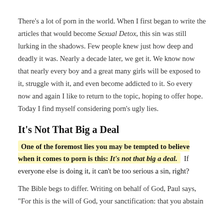There's a lot of porn in the world. When I first began to write the articles that would become Sexual Detox, this sin was still lurking in the shadows. Few people knew just how deep and deadly it was. Nearly a decade later, we get it. We know now that nearly every boy and a great many girls will be exposed to it, struggle with it, and even become addicted to it. So every now and again I like to return to the topic, hoping to offer hope. Today I find myself considering porn's ugly lies.
It's Not That Big a Deal
One of the foremost lies you may be tempted to believe when it comes to porn is this: It's not that big a deal. If everyone else is doing it, it can't be too serious a sin, right?
The Bible begs to differ. Writing on behalf of God, Paul says, "For this is the will of God, your sanctification: that you abstain